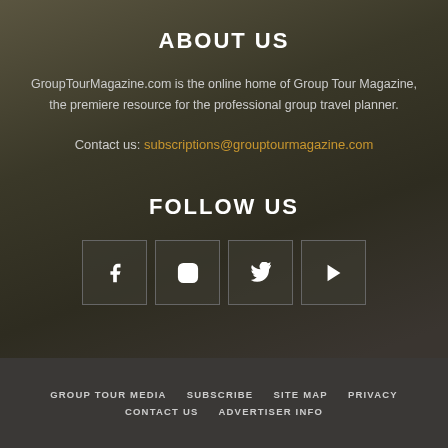ABOUT US
GroupTourMagazine.com is the online home of Group Tour Magazine, the premiere resource for the professional group travel planner.
Contact us: subscriptions@grouptourmagazine.com
FOLLOW US
[Figure (infographic): Four social media icon boxes in a row: Facebook (f), Instagram (circle with inner square), Twitter (bird), YouTube (play button)]
GROUP TOUR MEDIA   SUBSCRIBE   SITE MAP   PRIVACY   CONTACT US   ADVERTISER INFO